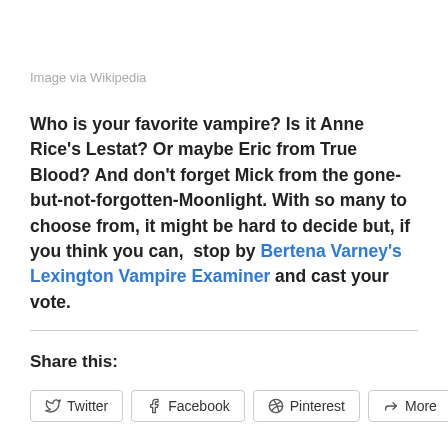Image via Wikipedia
Who is your favorite vampire? Is it Anne Rice's Lestat? Or maybe Eric from True Blood? And don't forget Mick from the gone-but-not-forgotten-Moonlight. With so many to choose from, it might be hard to decide but, if you think you can,  stop by Bertena Varney's Lexington Vampire Examiner and cast your vote.
Share this:
Twitter | Facebook | Pinterest | More